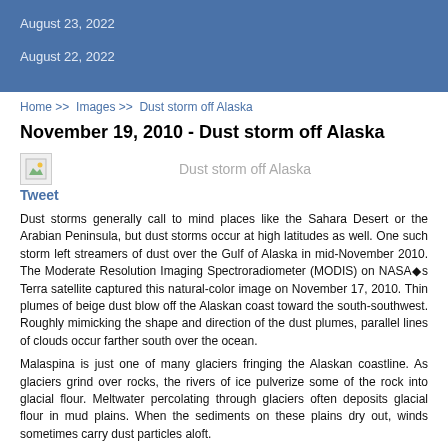August 23, 2022
August 22, 2022
Home >> Images >> Dust storm off Alaska
November 19, 2010 - Dust storm off Alaska
[Figure (photo): Image placeholder with caption 'Dust storm off Alaska']
Tweet
Dust storms generally call to mind places like the Sahara Desert or the Arabian Peninsula, but dust storms occur at high latitudes as well. One such storm left streamers of dust over the Gulf of Alaska in mid-November 2010. The Moderate Resolution Imaging Spectroradiometer (MODIS) on NASA◆s Terra satellite captured this natural-color image on November 17, 2010. Thin plumes of beige dust blow off the Alaskan coast toward the south-southwest. Roughly mimicking the shape and direction of the dust plumes, parallel lines of clouds occur farther south over the ocean.
Malaspina is just one of many glaciers fringing the Alaskan coastline. As glaciers grind over rocks, the rivers of ice pulverize some of the rock into glacial flour. Meltwater percolating through glaciers often deposits glacial flour in mud plains. When the sediments on these plains dry out, winds sometimes carry dust particles aloft.
The cloud streets in the south cast shadows on the dust plumes below. Running